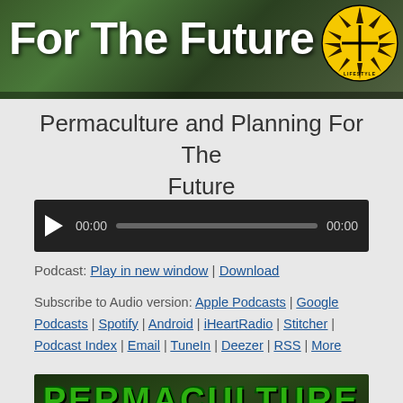[Figure (photo): Website banner header image showing 'For The Future' text in white bold font over a nature/forest background, with a yellow sunburst lifestyle logo in the top right corner and people silhouettes]
Permaculture and Planning For The Future
[Figure (screenshot): Audio player widget with dark background, play button, 00:00 timestamp, progress bar, and 00:00 end timestamp]
Podcast: Play in new window | Download
Subscribe to Audio version: Apple Podcasts | Google Podcasts | Spotify | Android | iHeartRadio | Stitcher | Podcast Index | Email | TuneIn | Deezer | RSS | More
[Figure (screenshot): Video thumbnail showing 'PERMACULTURE' in large green 3D text over a nature background with two people visible, and title bar reading 'Permaculture and Planning F...' with three-dot menu icon]